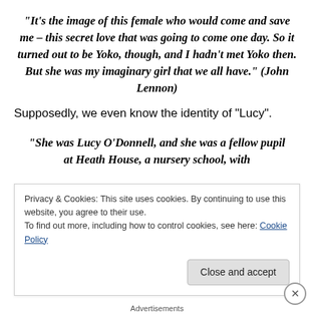“It’s the image of this female who would come and save me – this secret love that was going to come one day. So it turned out to be Yoko, though, and I hadn’t met Yoko then. But she was my imaginary girl that we all have.” (John Lennon)
Supposedly, we even know the identity of “Lucy”.
“She was Lucy O’Donnell, and she was a fellow pupil at Heath House, a nursery school, with
Privacy & Cookies: This site uses cookies. By continuing to use this website, you agree to their use.
To find out more, including how to control cookies, see here: Cookie Policy
Advertisements